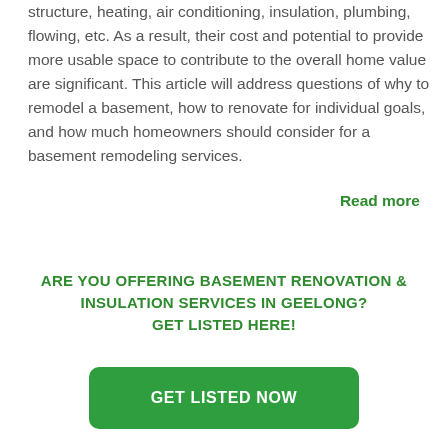structure, heating, air conditioning, insulation, plumbing, flowing, etc. As a result, their cost and potential to provide more usable space to contribute to the overall home value are significant. This article will address questions of why to remodel a basement, how to renovate for individual goals, and how much homeowners should consider for a basement remodeling services.
Read more
ARE YOU OFFERING BASEMENT RENOVATION & INSULATION SERVICES IN GEELONG? GET LISTED HERE!
GET LISTED NOW